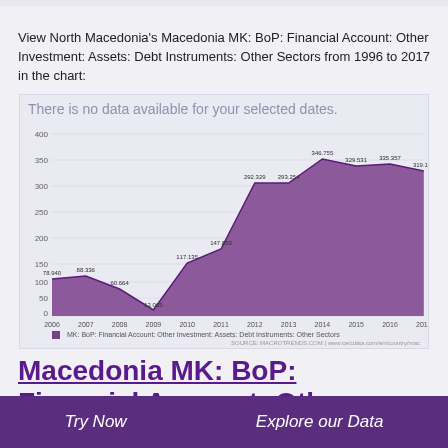View North Macedonia's Macedonia MK: BoP: Financial Account: Other Investment: Assets: Debt Instruments: Other Sectors from 1996 to 2017 in the chart:
[Figure (area-chart): Macedonia MK: BoP: Financial Account: Other Investment: Assets: Debt Instruments: Other Sectors]
Macedonia MK: BoP: Financial Account: Other
Try Now   Explore our Data